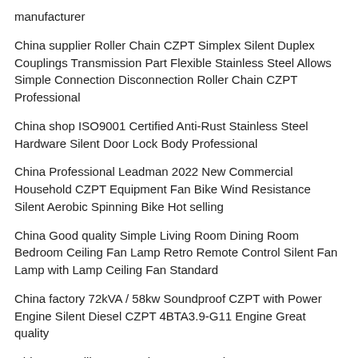manufacturer
China supplier Roller Chain CZPT Simplex Silent Duplex Couplings Transmission Part Flexible Stainless Steel Allows Simple Connection Disconnection Roller Chain CZPT Professional
China shop ISO9001 Certified Anti-Rust Stainless Steel Hardware Silent Door Lock Body Professional
China Professional Leadman 2022 New Commercial Household CZPT Equipment Fan Bike Wind Resistance Silent Aerobic Spinning Bike Hot selling
China Good quality Simple Living Room Dining Room Bedroom Ceiling Fan Lamp Retro Remote Control Silent Fan Lamp with Lamp Ceiling Fan Standard
China factory 72kVA / 58kw Soundproof CZPT with Power Engine Silent Diesel CZPT 4BTA3.9-G11 Engine Great quality
China Hot selling V5s Robot Vacuum Cleaner